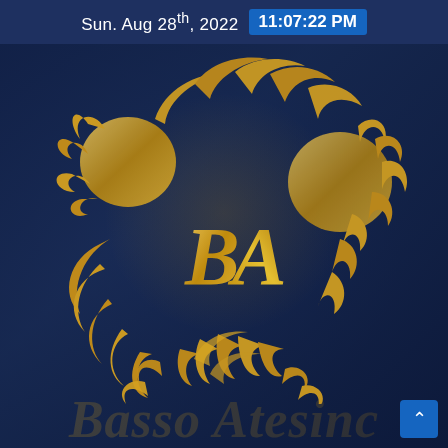Sun. Aug 28th, 2022  11:07:22 PM
[Figure (logo): Basso Atesino company logo: a golden dragon/phoenix circular emblem with 'BA' monogram letters in the center, golden decorative feather/leaf motifs forming a wreath, set against a dark navy blue background with a blurred hands-on-laptop background image]
Basso Atesino